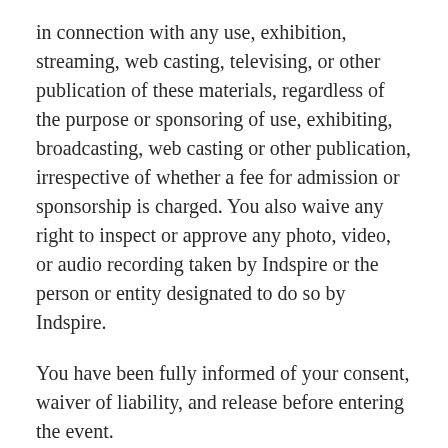in connection with any use, exhibition, streaming, web casting, televising, or other publication of these materials, regardless of the purpose or sponsoring of use, exhibiting, broadcasting, web casting or other publication, irrespective of whether a fee for admission or sponsorship is charged. You also waive any right to inspect or approve any photo, video, or audio recording taken by Indspire or the person or entity designated to do so by Indspire.
You have been fully informed of your consent, waiver of liability, and release before entering the event.
Website and Electronic Commerce
Our website is operated by Indspire for the benefit of our supporters and other stakeholders.